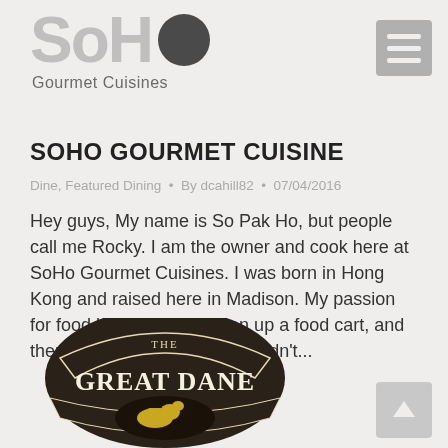SoHo Gourmet Cuisines
SOHO GOURMET CUISINE
Dine, Featured Dining  •  By dcahill82  •  07/04/2016
Hey guys, My name is So Pak Ho, but people call me Rocky. I am the owner and cook here at SoHo Gourmet Cuisines. I was born in Hong Kong and raised here in Madison. My passion for food led me to first open up a food cart, and then this restaurant! But I couldn't...
[Figure (logo): The Great Dane pub and brewing logo — dark shield/crest shape with banner ribbons and a golden Great Dane dog silhouette in the center]